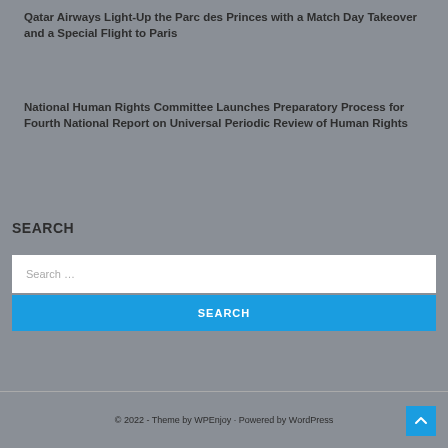Qatar Airways Light-Up the Parc des Princes with a Match Day Takeover and a Special Flight to Paris
National Human Rights Committee Launches Preparatory Process for Fourth National Report on Universal Periodic Review of Human Rights
SEARCH
Search …
SEARCH
© 2022 - Theme by WPEnjoy · Powered by WordPress